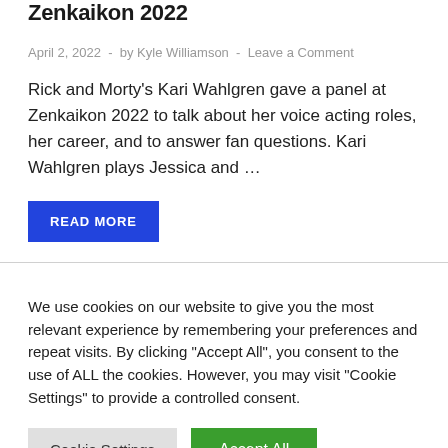Zenkaikon 2022
April 2, 2022  -  by Kyle Williamson  -  Leave a Comment
Rick and Morty's Kari Wahlgren gave a panel at Zenkaikon 2022 to talk about her voice acting roles, her career, and to answer fan questions. Kari Wahlgren plays Jessica and …
READ MORE
We use cookies on our website to give you the most relevant experience by remembering your preferences and repeat visits. By clicking "Accept All", you consent to the use of ALL the cookies. However, you may visit "Cookie Settings" to provide a controlled consent.
Cookie Settings
Accept All